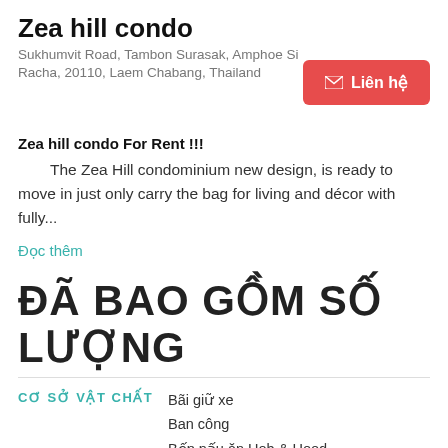Zea hill condo
Sukhumvit Road, Tambon Surasak, Amphoe Si Racha, 20110, Laem Chabang, Thailand
✉ Liên hệ
Zea hill condo For Rent !!!
The Zea Hill condominium new design, is ready to move in just only carry the bag for living and décor with fully...
Đọc thêm
ĐÃ BAO GỒM SỐ LƯỢNG
CƠ SỞ VẬT CHẤT
Bãi giữ xe
Ban công
Bếp nấu ăn Hob & Hood
Bếp
Tủ lạnh